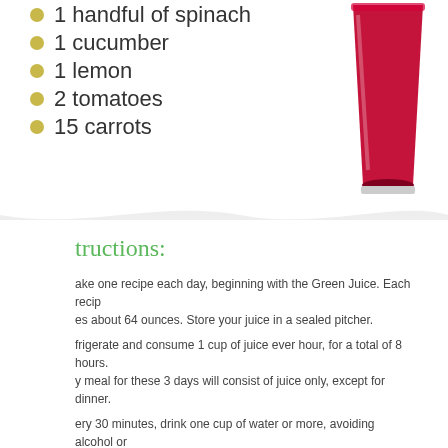1 handful of spinach
1 cucumber
1 lemon
2 tomatoes
15 carrots
[Figure (photo): A glass of red/crimson juice]
tructions:
ake one recipe each day, beginning with the Green Juice. Each recipe makes about 64 ounces. Store your juice in a sealed pitcher.
frigerate and consume 1 cup of juice ever hour, for a total of 8 hours. Your meal for these 3 days will consist of juice only, except for dinner.
ery 30 minutes, drink one cup of water or more, avoiding alcohol or caffeine.
ur last meal of the day will be a full meal and should consist only of grilled or baked lean protein and green vegetables. Avoid starches and processed foods.
ish each evening with a glass of warm chamomile tea with freshly squeezed lemon.
PHYSICIAN'S PREFERENCE.
Thinking about doing a cleanse? Use this guide to help you
[Figure (infographic): 5 Detox infographic on dark background with large green 5 and white Detox text]